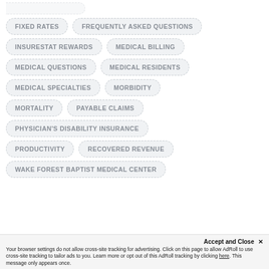FIXED RATES
FREQUENTLY ASKED QUESTIONS
INSURESTAT REWARDS
MEDICAL BILLING
MEDICAL QUESTIONS
MEDICAL RESIDENTS
MEDICAL SPECIALTIES
MORBIDITY
MORTALITY
PAYABLE CLAIMS
PHYSICIAN'S DISABILITY INSURANCE
PRODUCTIVITY
RECOVERED REVENUE
WAKE FOREST BAPTIST MEDICAL CENTER
Accept and Close ✕
Your browser settings do not allow cross-site tracking for advertising. Click on this page to allow AdRoll to use cross-site tracking to tailor ads to you. Learn more or opt out of this AdRoll tracking by clicking here. This message only appears once.